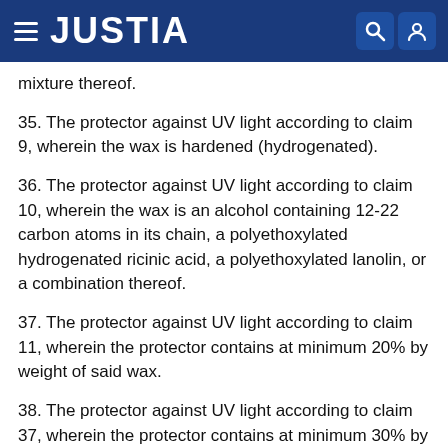JUSTIA
mixture thereof.
35. The protector against UV light according to claim 9, wherein the wax is hardened (hydrogenated).
36. The protector against UV light according to claim 10, wherein the wax is an alcohol containing 12-22 carbon atoms in its chain, a polyethoxylated hydrogenated ricinic acid, a polyethoxylated lanolin, or a combination thereof.
37. The protector against UV light according to claim 11, wherein the protector contains at minimum 20% by weight of said wax.
38. The protector against UV light according to claim 37, wherein the protector contains at minimum 30% by weight of said wax.